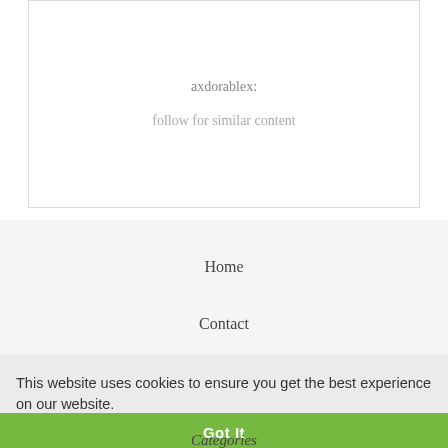axdorablex:
follow for similar content
Home
Contact
This website uses cookies to ensure you get the best experience on our website.
Learn more...
Got It
Categories